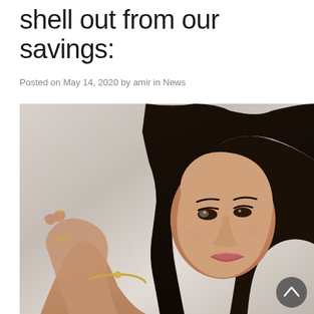shell out from our savings:
Posted on May 14, 2020 by amir in News
[Figure (photo): Portrait photo of a young woman with dark hair, wearing gold jewelry including bracelets and a necklace, posed against a light marble/concrete background. A dark circular scroll-up button is visible in the lower right of the image.]